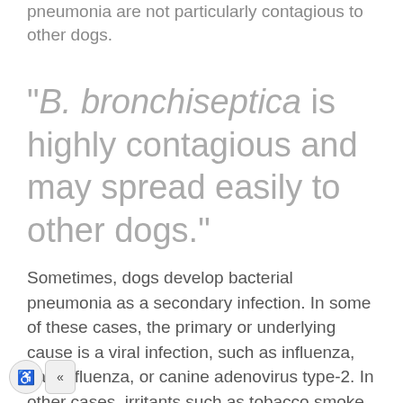pneumonia are not particularly contagious to other dogs.
"B. bronchiseptica is highly contagious and may spread easily to other dogs."
Sometimes, dogs develop bacterial pneumonia as a secondary infection. In some of these cases, the primary or underlying cause is a viral infection, such as influenza, parainfluenza, or canine adenovirus type-2. In other cases, irritants such as tobacco smoke, smog, or other inhaled pollutants may be the underlying cause that predisposed the dog to a bacterial infection.